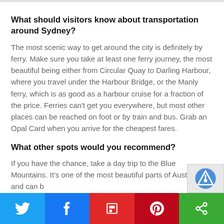What should visitors know about transportation around Sydney?
The most scenic way to get around the city is definitely by ferry. Make sure you take at least one ferry journey, the most beautiful being either from Circular Quay to Darling Harbour, where you travel under the Harbour Bridge, or the Manly ferry, which is as good as a harbour cruise for a fraction of the price. Ferries can't get you everywhere, but most other places can be reached on foot or by train and bus. Grab an Opal Card when you arrive for the cheapest fares.
What other spots would you recommend?
If you have the chance, take a day trip to the Blue Mountains. It's one of the most beautiful parts of Australia and can b
Twitter | Facebook | Flipboard | Pinterest | Other